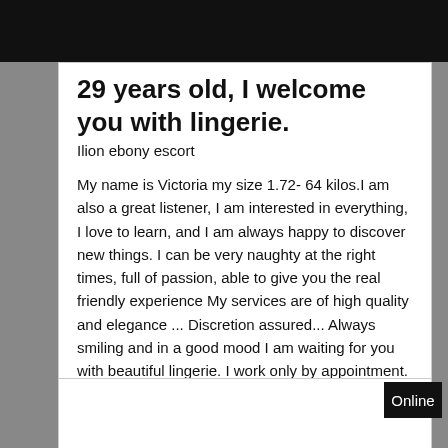SWINGOURMET
29 years old, I welcome you with lingerie.
Ilion ebony escort
My name is Victoria my size 1.72- 64 kilos.I am also a great listener, I am interested in everything, I love to learn, and I am always happy to discover new things. I can be very naughty at the right times, full of passion, able to give you the real friendly experience My services are of high quality and elegance ... Discretion assured... Always smiling and in a good mood I am waiting for you with beautiful lingerie. I work only by appointment. My photos are real and recent. For more information please call me, I do not answer to hidden numbers.
Online